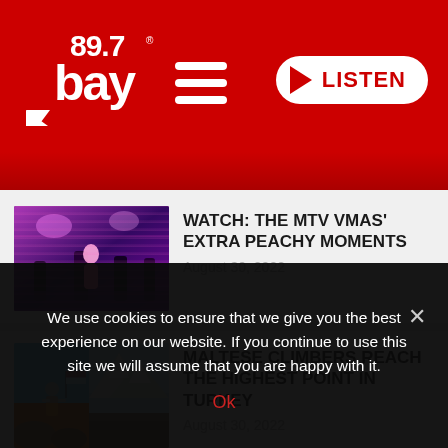[Figure (logo): 89.7 Bay FM radio station logo in white on red background with hamburger menu and LISTEN button]
WATCH: THE MTV VMAS' EXTRA PEACHY MOMENTS
August 30, 2022
MALTESE CLIMBERS REACH THE HIGHEST POINT IN TURKEY
August 30, 2022
PILOT REACTS TO PASSENGERS
We use cookies to ensure that we give you the best experience on our website. If you continue to use this site we will assume that you are happy with it.
Ok